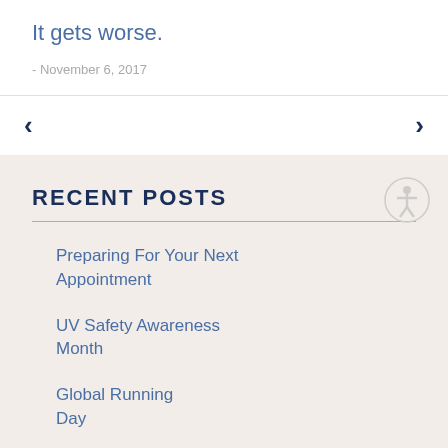It gets worse.
- November 6, 2017
RECENT POSTS
Preparing For Your Next Appointment
UV Safety Awareness Month
Global Running Day